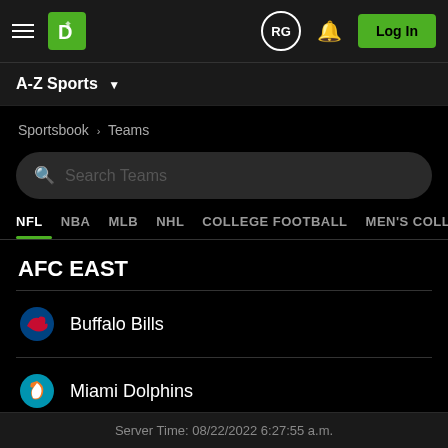RG | Log In
A-Z Sports
Sportsbook › Teams
Search Teams
NFL
NBA
MLB
NHL
COLLEGE FOOTBALL
MEN'S COLLEGE BASKET
AFC EAST
Buffalo Bills
Miami Dolphins
Server Time: 08/22/2022 6:27:55 a.m.